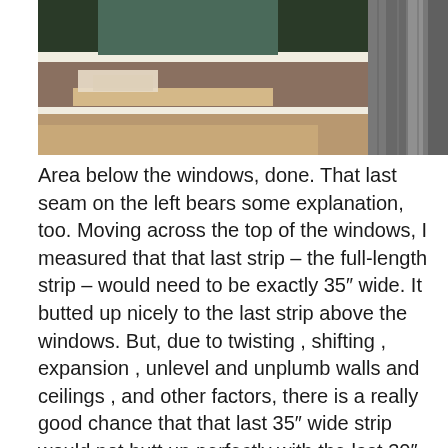[Figure (photo): Photograph of a room interior showing laminate flooring near windows with drapes/curtains hanging on the right side and what appears to be a desk or table surface.]
Area below the windows, done. That last seam on the left bears some explanation, too. Moving across the top of the windows, I measured that that last strip – the full-length strip – would need to be exactly 35″ wide. It butted up nicely to the last strip above the windows. But, due to twisting , shifting , expansion , unlevel and unplumb walls and ceilings , and other factors, there is a really good chance that that last 35″ wide strip would not butt up perfectly with the last 30″ wide strip under the window . So I planned to splice these last two strips together. Yeah, the drapes are hanging there, I coulda overlapped the two strips about 1/2″ and the drapes would have covered it. Without the drapes they would have been visible.